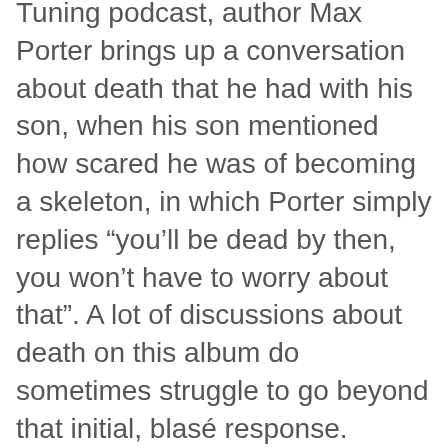Tuning podcast, author Max Porter brings up a conversation about death that he had with his son, when his son mentioned how scared he was of becoming a skeleton, in which Porter simply replies “you’ll be dead by then, you won’t have to worry about that”. A lot of discussions about death on this album do sometimes struggle to go beyond that initial, blasé response.
The track ‘Sdc’ repeats, proudly, “we are Swedish Death Cleaning”, advertising a unique way of living. It ends with a quote about a 90 year old man, who has just died, and how his sons and daughters didn’t know how to best celebrate his life, due to their million pound talks about death. And